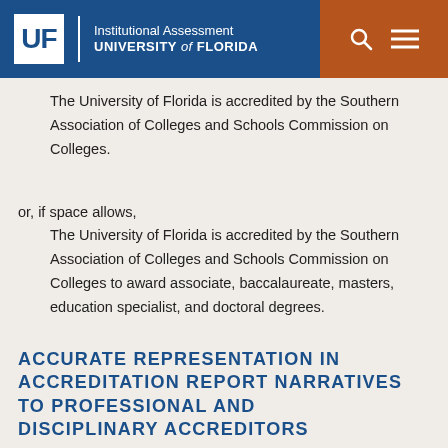UF | Institutional Assessment | UNIVERSITY of FLORIDA
The University of Florida is accredited by the Southern Association of Colleges and Schools Commission on Colleges.
or, if space allows,
The University of Florida is accredited by the Southern Association of Colleges and Schools Commission on Colleges to award associate, baccalaureate, masters, education specialist, and doctoral degrees.
ACCURATE REPRESENTATION IN ACCREDITATION REPORT NARRATIVES TO PROFESSIONAL AND DISCIPLINARY ACCREDITORS